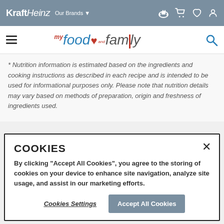[Figure (screenshot): KraftHeinz navigation bar with logo, Our Brands dropdown, and icons for recipes, cart, favorites, and profile]
[Figure (logo): My Food and Family logo with hamburger menu and search icon]
* Nutrition information is estimated based on the ingredients and cooking instructions as described in each recipe and is intended to be used for informational purposes only. Please note that nutrition details may vary based on methods of preparation, origin and freshness of ingredients used.
COOKIES
By clicking "Accept All Cookies", you agree to the storing of cookies on your device to enhance site navigation, analyze site usage, and assist in our marketing efforts.
Cookies Settings    Accept All Cookies